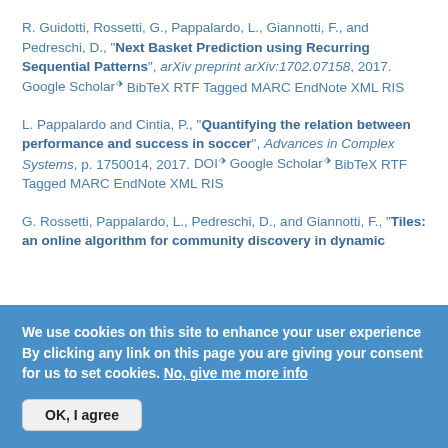R. Guidotti, Rossetti, G., Pappalardo, L., Giannotti, F., and Pedreschi, D., "Next Basket Prediction using Recurring Sequential Patterns", arXiv preprint arXiv:1702.07158, 2017. Google Scholar BibTeX RTF Tagged MARC EndNote XML RIS
L. Pappalardo and Cintia, P., "Quantifying the relation between performance and success in soccer", Advances in Complex Systems, p. 1750014, 2017. DOI Google Scholar BibTeX RTF Tagged MARC EndNote XML RIS
G. Rossetti, Pappalardo, L., Pedreschi, D., and Giannotti, F., "Tiles: an online algorithm for community discovery in dynamic
We use cookies on this site to enhance your user experience By clicking any link on this page you are giving your consent for us to set cookies. No, give me more info
OK, I agree